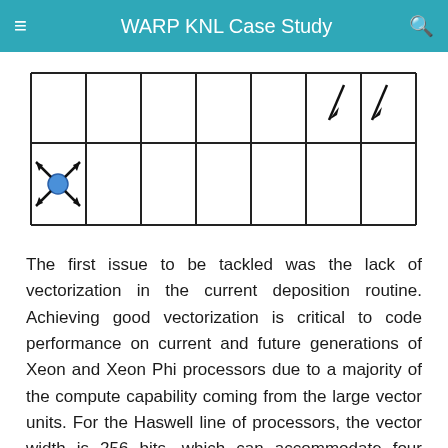WARP KNL Case Study
[Figure (schematic): A grid schematic showing a particle (blue dot) in the lower-left cell with arrows pointing outward in four diagonal directions (upper-left, upper-right, lower-left, lower-right), representing current deposition to neighboring grid cells. Two downward arrows also appear in the upper-right portion of the grid.]
The first issue to be tackled was the lack of vectorization in the current deposition routine. Achieving good vectorization is critical to code performance on current and future generations of Xeon and Xeon Phi processors due to a majority of the compute capability coming from the large vector units. For the Haswell line of processors, the vector width is 256 bits, which can accommodate four double precision floating point numbers. In general, the compiler considers the inner most loop of a nest for vectorization. The schematic on the left shows the operation involved. Each particle contributes a current to its neighboring grid